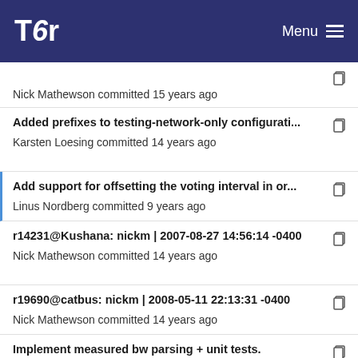Tor Menu
Nick Mathewson committed 15 years ago
Added prefixes to testing-network-only configurati...
Karsten Loesing committed 14 years ago
Add support for offsetting the voting interval in or...
Linus Nordberg committed 9 years ago
r14231@Kushana: nickm | 2007-08-27 14:56:14 -0400
Nick Mathewson committed 14 years ago
r19690@catbus: nickm | 2008-05-11 22:13:31 -0400
Nick Mathewson committed 14 years ago
Implement measured bw parsing + unit tests.
Mike Perry committed 13 years ago
Parse Guardfraction file and apply results to route...
George Kadianakis committed 7...